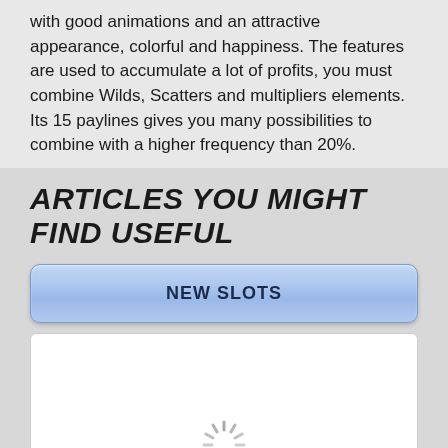with good animations and an attractive appearance, colorful and happiness. The features are used to accumulate a lot of profits, you must combine Wilds, Scatters and multipliers elements. Its 15 paylines gives you many possibilities to combine with a higher frequency than 20%.
ARTICLES YOU MIGHT FIND USEFUL
NEW SLOTS
[Figure (other): White card/image placeholder with a loading spinner icon at the bottom center]